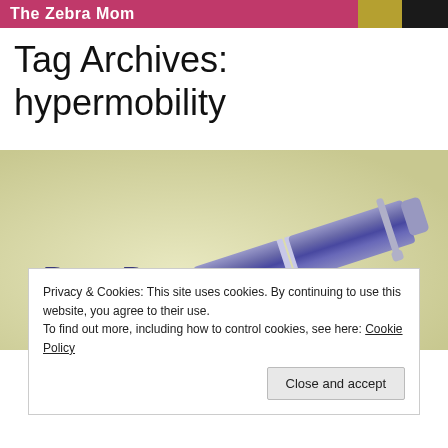The Zebra Mom
Tag Archives: hypermobility
[Figure (photo): Warm olive-toned background with a silver fountain pen lying diagonally, and cursive text 'Dear Doctor,' in dark blue-purple ink overlaid on the left side.]
Privacy & Cookies: This site uses cookies. By continuing to use this website, you agree to their use.
To find out more, including how to control cookies, see here: Cookie Policy
Close and accept